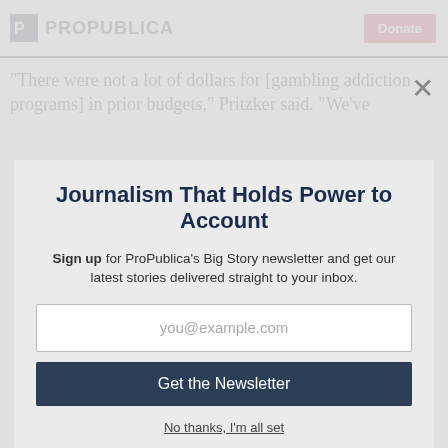ProPublica — Donate
“There were not a lot of dollars for [gambling addiction programs] in prior budgets,” Pritzker said. “We’ve
Journalism That Holds Power to Account
Sign up for ProPublica’s Big Story newsletter and get our latest stories delivered straight to your inbox.
you@example.com
Get the Newsletter
No thanks, I’m all set
This site is protected by reCAPTCHA and the Google Privacy Policy and Terms of Service apply.